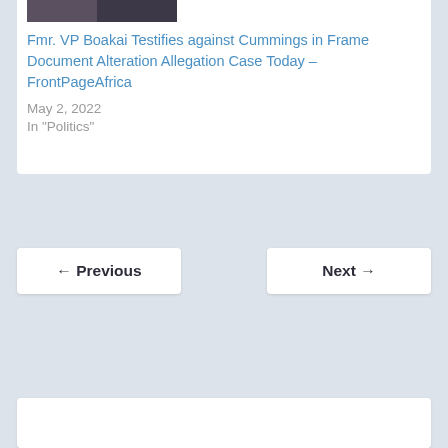[Figure (photo): Partial photo of a person at the top of the card, cropped]
Fmr. VP Boakai Testifies against Cummings in Frame Document Alteration Allegation Case Today – FrontPageAfrica
May 2, 2022
In "Politics"
← Previous
Next →